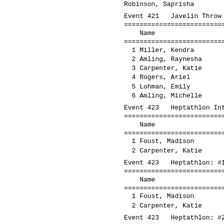Robinson, Saprisha
Event 421   Javelin Throw 600g
| Name | Ye |
| --- | --- |
| 1 Miller, Kendra |  |
| 2 Amling, Raynesha |  |
| 3 Carpenter, Katie |  |
| 4 Rogers, Ariel |  |
| 5 Lohman, Emily |  |
| 6 Amling, Michelle |  |
Event 423   Heptathlon Intermed
| Name | Ye |
| --- | --- |
| 1 Foust, Madison |  |
| 2 Carpenter, Katie |  |
Event 423   Heptathlon: #1 100
| Name | Ye |
| --- | --- |
| 1 Foust, Madison |  |
| 2 Carpenter, Katie |  |
Event 423   Heptathlon: #2 High
| Name | Ye |
| --- | --- |
| 1 Carpenter, Katie |  |
| 2 Foust, Madison |  |